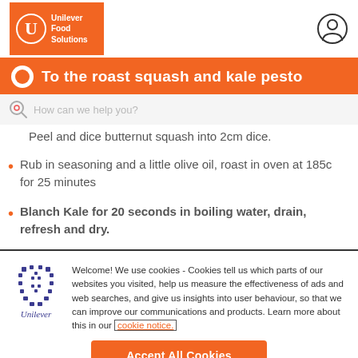[Figure (logo): Unilever Food Solutions logo - orange rectangle with white U circle and text]
To the roast squash and kale pesto
Peel and dice butternut squash into 2cm dice.
Rub in seasoning and a little olive oil, roast in oven at 185c for 25 minutes
Blanch Kale for 20 seconds in boiling water, drain, refresh and dry.
Welcome! We use cookies - Cookies tell us which parts of our websites you visited, help us measure the effectiveness of ads and web searches, and give us insights into user behaviour, so that we can improve our communications and products. Learn more about this in our cookie notice.
Accept All Cookies